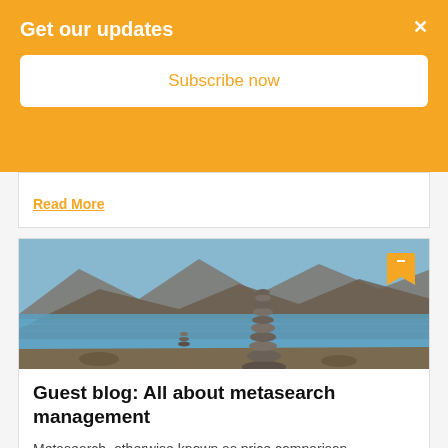Get our updates
Subscribe now
Read More
[Figure (photo): Landscape photo of stacked stones (cairn) beside a blue mountain lake with rocky hills in the background]
Guest blog: All about metasearch management
Metasearch, otherwise known as price comparison